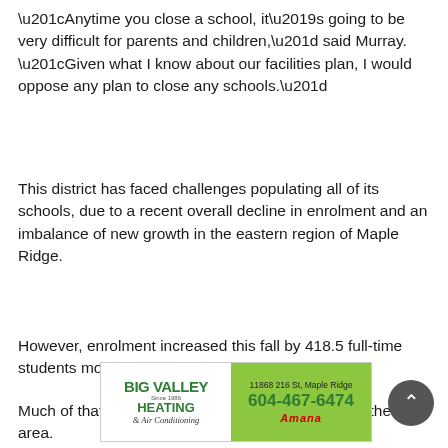“Anytime you close a school, it’s going to be very difficult for parents and children,” said Murray. “Given what I know about our facilities plan, I would oppose any plan to close any schools.”
This district has faced challenges populating all of its schools, due to a recent overall decline in enrolment and an imbalance of new growth in the eastern region of Maple Ridge.
However, enrolment increased this fall by 418.5 full-time students more than was expected.
Much of that is the result of new families moving to the area.
[Figure (other): Big Valley Heating and Air Conditioning advertisement with logo on left and contact info (11868 216 St, Maple Ridge, 604-467-6474, Amana brand) on green background on right]